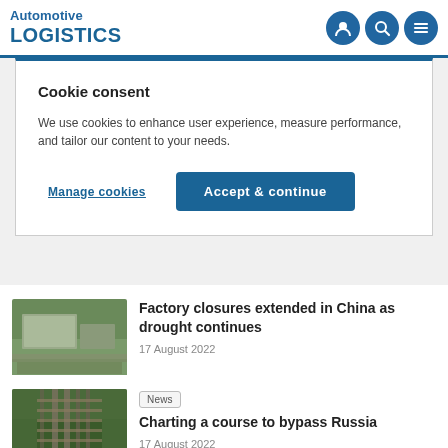Automotive LOGISTICS
Cookie consent
We use cookies to enhance user experience, measure performance, and tailor our content to your needs.
Manage cookies | Accept & continue
[Figure (photo): Aerial view of an automotive factory or logistics facility with large parking lots and roads]
Factory closures extended in China as drought continues
17 August 2022
[Figure (photo): Aerial view of railway tracks running through a forested area]
News
Charting a course to bypass Russia
17 August 2022